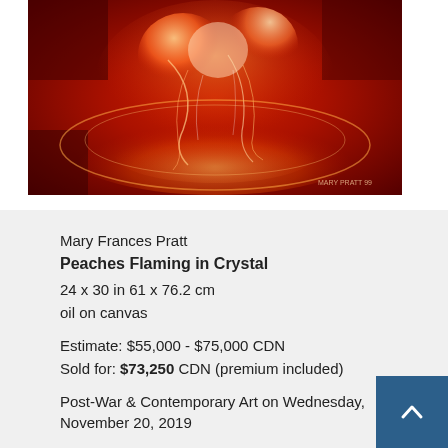[Figure (photo): Painting of peaches in a crystal bowl with warm red and orange tones, flaming light effects. Title visible at bottom right: Mary Pratt 99.]
Mary Frances Pratt
Peaches Flaming in Crystal
24 x 30 in 61 x 76.2 cm
oil on canvas

Estimate: $55,000 - $75,000 CDN
Sold for: $73,250 CDN (premium included)

Post-War & Contemporary Art on Wednesday, November 20, 2019